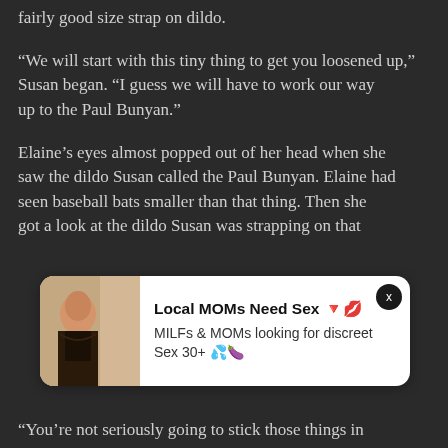fairly good size strap on dildo.
“We will start with this tiny thing to get you loosened up,” Susan began. “I guess we will have to work our way up to the Paul Bunyan.”
Elaine’s eyes almost popped out of her head when she saw the dildo Susan called the Paul Bunyan. Elaine had seen baseball bats smaller than that thing. Then she got a look at the dildo Susan was strapping on that
[Figure (photo): Advertisement banner with a photo of a woman, titled 'Local MOMs Need Sex' with emojis, and body text 'MILFs & MOMs looking for discreet Sex 30+' with emojis. Has a close (x) button.]
“You’re not seriously going to stick those things in